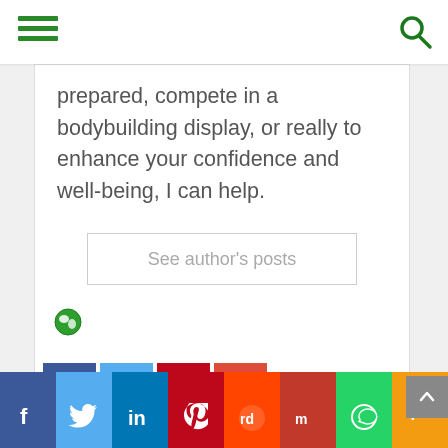[Hamburger menu and search icon navigation bar]
prepared, compete in a bodybuilding display, or really to enhance your confidence and well-being, I can help.
See author's posts
[Figure (illustration): Green globe/world icon]
[Figure (infographic): Social share buttons: Facebook (blue), Twitter (light blue), Pinterest (red), Google+ (orange-red)]
Social sharing bar: Facebook, Twitter, LinkedIn, Pinterest, Reddit, Mix, WhatsApp, More